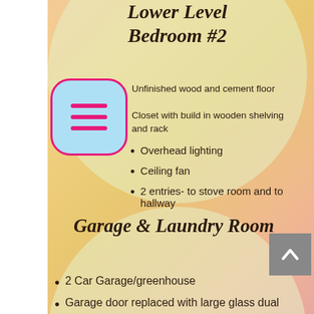Lower Level Bedroom #2
Unfinished wood and cement floor
Closet with build in wooden shelving and rack
Overhead lighting
Ceiling fan
2 entries- to stove room and to hallway
Garage & Laundry Room
2 Car Garage/greenhouse
Garage door replaced with large glass dual